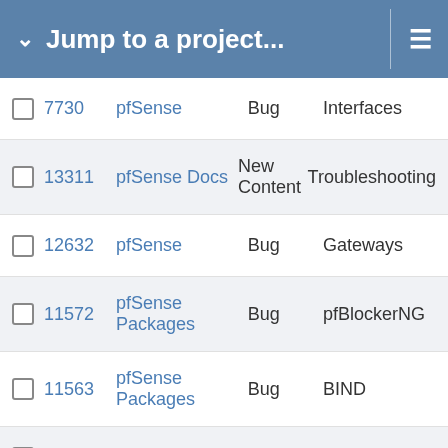Jump to a project...
|  | ID | Project | Tracker | Category |
| --- | --- | --- | --- | --- |
|  | 7730 | pfSense | Bug | Interfaces |
|  | 13311 | pfSense Docs | New Content | Troubleshooting |
|  | 12632 | pfSense | Bug | Gateways |
|  | 11572 | pfSense Packages | Bug | pfBlockerNG |
|  | 11563 | pfSense Packages | Bug | BIND |
|  | 4845 | pfSense | Bug | CARP |